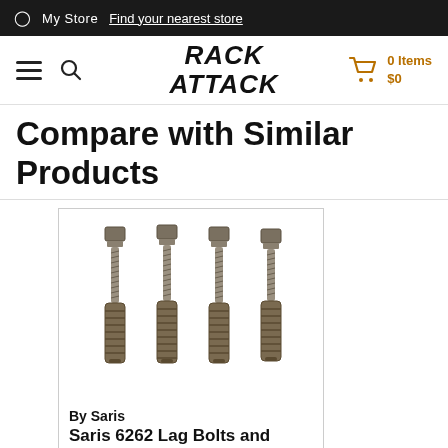My Store  Find your nearest store
RACK ATTACK  0 Items $0
Compare with Similar Products
[Figure (photo): Four lag bolts with anchor shields, shown side by side on a white background.]
By Saris
Saris 6262 Lag Bolts and Shields